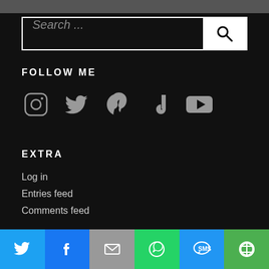[Figure (photo): Partial photo strip at the top of the page, showing a dark gray image]
[Figure (screenshot): Search box with placeholder text 'Search ...' and a white search button with magnifying glass icon]
FOLLOW ME
[Figure (infographic): Social media icons row: Instagram, Twitter, Pinterest, TikTok, YouTube]
EXTRA
Log in
Entries feed
Comments feed
[Figure (infographic): Share bar at bottom with Twitter, Facebook, Email, WhatsApp, SMS, and More buttons]